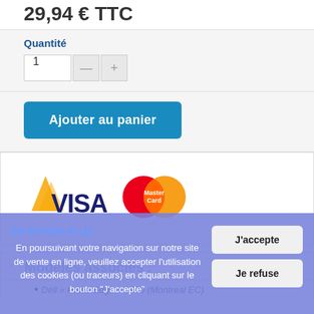29,94 € TTC
Quantité
1
Ajouter au panier
[Figure (logo): VISA and MasterCard payment logos side by side]
Modèles associés :
Dell » PowerEdge » 1900 (Montreal EC)
EN SAVOIR PLUS
En poursuivant votre navigation sur notre site de vente en ligne, veuillez accepter l'utilisation des cookies (ou traceurs) en cliquant sur le bouton "J'accepte"
J'accepte
Je refuse